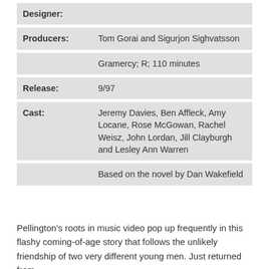| Designer: |  |
| Producers: | Tom Gorai and Sigurjon Sighvatsson |
|  | Gramercy; R; 110 minutes |
| Release: | 9/97 |
| Cast: | Jeremy Davies, Ben Affleck, Amy Locane, Rose McGowan, Rachel Weisz, John Lordan, Jill Clayburgh and Lesley Ann Warren |
|  | Based on the novel by Dan Wakefield |
Pellington's roots in music video pop up frequently in this flashy coming-of-age story that follows the unlikely friendship of two very different young men. Just returned from...